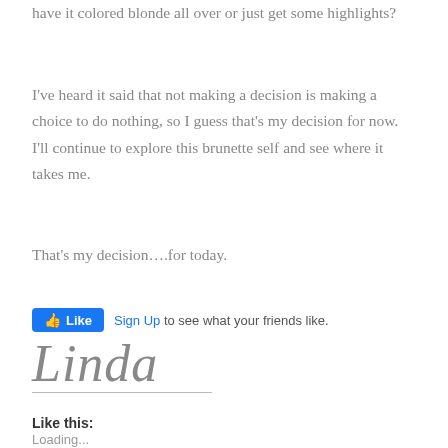have it colored blonde all over or just get some highlights?
I've heard it said that not making a decision is making a choice to do nothing, so I guess that's my decision for now. I'll continue to explore this brunette self and see where it takes me.
That's my decision….for today.
[Figure (screenshot): Facebook Like button widget with 'Sign Up to see what your friends like.' text]
[Figure (illustration): Handwritten cursive signature reading 'Linda' with a horizontal line beneath it]
Like this:
Loading...